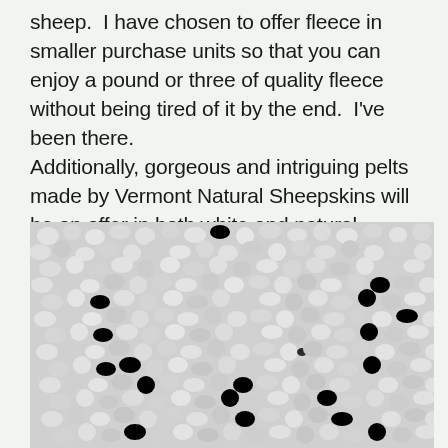sheep.  I have chosen to offer fleece in smaller purchase units so that you can enjoy a pound or three of quality fleece without being tired of it by the end.  I've been there.
Additionally, gorgeous and intriguing pelts made by Vermont Natural Sheepskins will be on offer in both white and natural shades.
[Figure (photo): Close-up macro photograph of sheep fleece/wool texture, showing tightly curled white and light gray woolly fibers with a natural textured surface. One small dark spot visible near the center-left area.]